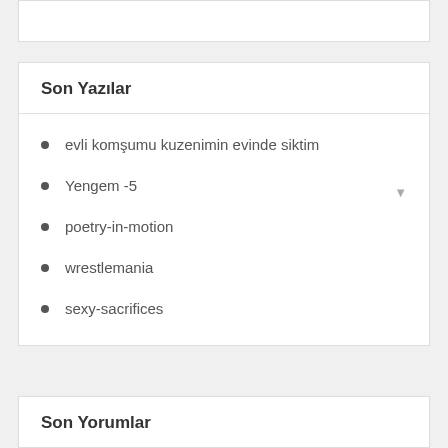Son Yazılar
evli komşumu kuzenimin evinde siktim
Yengem -5
poetry-in-motion
wrestlemania
sexy-sacrifices
Son Yorumlar